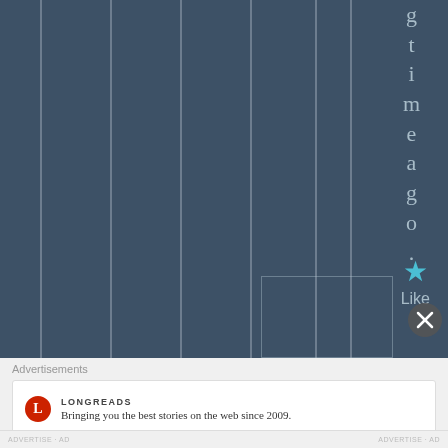[Figure (illustration): Dark blue-grey background with vertical column lines and vertically arranged letters spelling 'g t i m a g o .' with a cyan star icon and 'Like' text below, plus a partial rectangle outline at bottom right]
Advertisements
[Figure (logo): Longreads logo: red circle with L letter, followed by LONGREADS text in small caps]
Bringing you the best stories on the web since 2009.
ADVERTISE AD